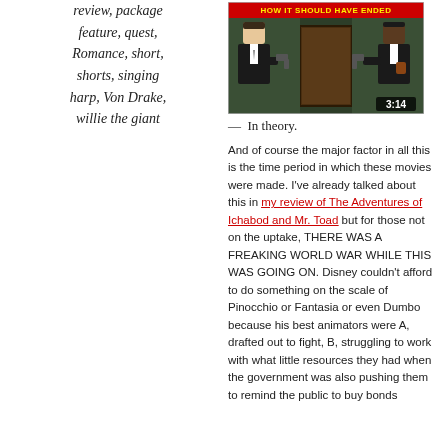review, package feature, quest, Romance, short, shorts, singing harp, Von Drake, willie the giant
[Figure (screenshot): YouTube-style video thumbnail showing animated cartoon characters from 'How It Should Have Ended' with two figures holding guns and a door in background, duration 3:14]
— In theory.
And of course the major factor in all this is the time period in which these movies were made. I've already talked about this in my review of The Adventures of Ichabod and Mr. Toad but for those not on the uptake, THERE WAS A FREAKING WORLD WAR WHILE THIS WAS GOING ON. Disney couldn't afford to do something on the scale of Pinocchio or Fantasia or even Dumbo because his best animators were A, drafted out to fight, B, struggling to work with what little resources they had when the government was also pushing them to remind the public to buy bonds